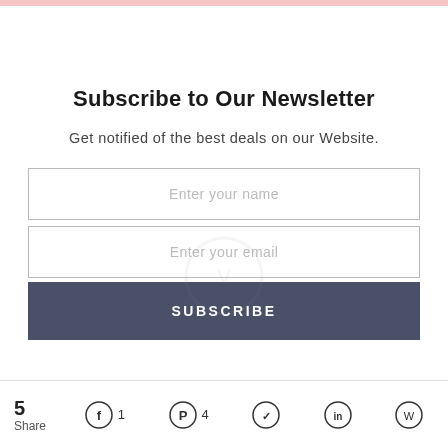Subscribe to Our Newsletter
Get notified of the best deals on our Website.
Enter your name
Enter your email
SUBSCRIBE
5 Share  Facebook 1  Pinterest 4  Twitter  LinkedIn  WhatsApp